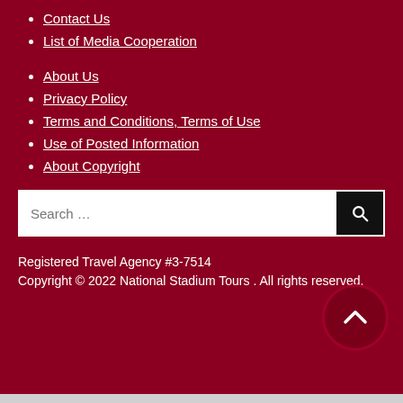Contact Us
List of Media Cooperation
About Us
Privacy Policy
Terms and Conditions, Terms of Use
Use of Posted Information
About Copyright
Search ...
Registered Travel Agency #3-7514
Copyright © 2022 National Stadium Tours . All rights reserved.